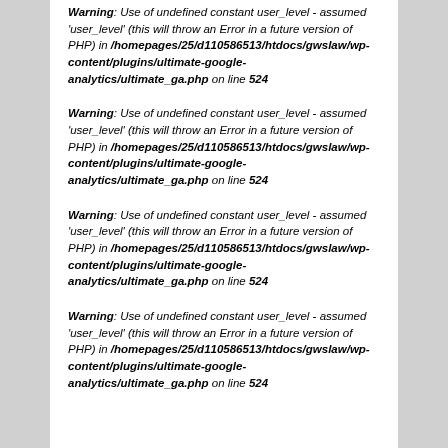Warning: Use of undefined constant user_level - assumed 'user_level' (this will throw an Error in a future version of PHP) in /homepages/25/d110586513/htdocs/gwslaw/wp-content/plugins/ultimate-google-analytics/ultimate_ga.php on line 524
Warning: Use of undefined constant user_level - assumed 'user_level' (this will throw an Error in a future version of PHP) in /homepages/25/d110586513/htdocs/gwslaw/wp-content/plugins/ultimate-google-analytics/ultimate_ga.php on line 524
Warning: Use of undefined constant user_level - assumed 'user_level' (this will throw an Error in a future version of PHP) in /homepages/25/d110586513/htdocs/gwslaw/wp-content/plugins/ultimate-google-analytics/ultimate_ga.php on line 524
Warning: Use of undefined constant user_level - assumed 'user_level' (this will throw an Error in a future version of PHP) in /homepages/25/d110586513/htdocs/gwslaw/wp-content/plugins/ultimate-google-analytics/ultimate_ga.php on line 524